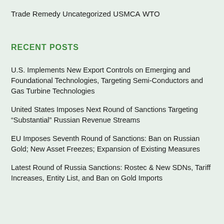Trade Remedy
Uncategorized
USMCA
WTO
RECENT POSTS
U.S. Implements New Export Controls on Emerging and Foundational Technologies, Targeting Semi-Conductors and Gas Turbine Technologies
United States Imposes Next Round of Sanctions Targeting “Substantial” Russian Revenue Streams
EU Imposes Seventh Round of Sanctions: Ban on Russian Gold; New Asset Freezes; Expansion of Existing Measures
Latest Round of Russia Sanctions: Rostec & New SDNs, Tariff Increases, Entity List, and Ban on Gold Imports